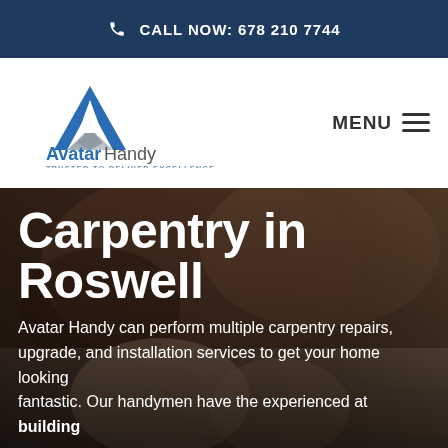CALL NOW: 678 210 7744
[Figure (logo): Avatar Handy logo with blue letter A and gray wing shapes, text 'AvatarHandy' and tagline 'TRUSTED TO DELIVER EXCELLENCE']
MENU
[Figure (photo): Person working with hands on carpentry, dark overlay background image]
Carpentry in Roswell
Avatar Handy can perform multiple carpentry repairs, upgrade, and installation services to get your home looking fantastic. Our handymen have the experienced at building